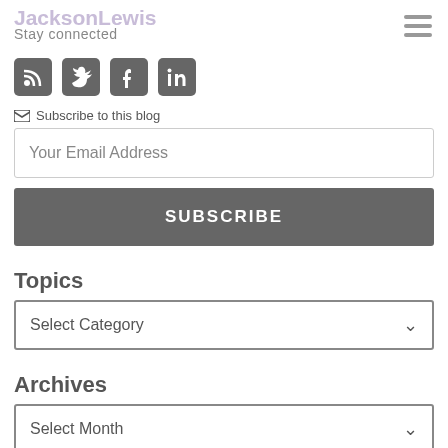JacksonLewis
Stay connected
[Figure (infographic): Social media icons: RSS, Twitter, Facebook, LinkedIn]
Subscribe to this blog
Your Email Address
SUBSCRIBE
Topics
Select Category
Archives
Select Month